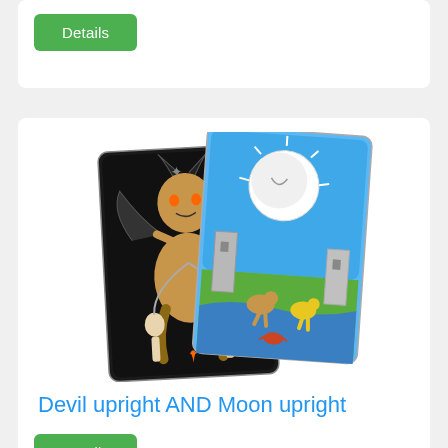[Figure (other): Green Details button at top of first card]
[Figure (illustration): Two tarot cards: Devil upright (dark card with Baphomet figure and two chained humans) and Moon upright (blue sky card with large moon, two towers, animals in foreground)]
Devil upright AND Moon upright
[Figure (other): Green Details button for Devil upright AND Moon upright card]
[Figure (illustration): Partial view of two tarot cards at bottom: Devil upright (dark) and Star upright (light blue with star) — partially cropped]